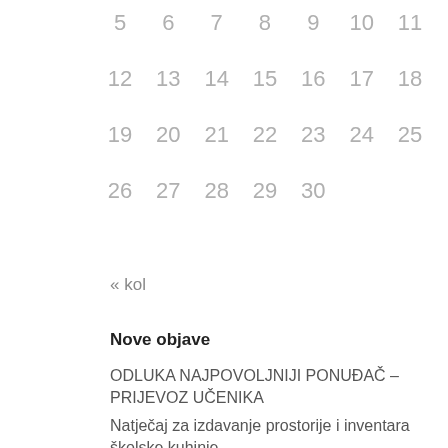| 5 | 6 | 7 | 8 | 9 | 10 | 11 |
| 12 | 13 | 14 | 15 | 16 | 17 | 18 |
| 19 | 20 | 21 | 22 | 23 | 24 | 25 |
| 26 | 27 | 28 | 29 | 30 |  |  |
« kol
Nove objave
ODLUKA NAJPOVOLJNIJI PONUĐAČ – PRIJEVOZ UČENIKA
Natječaj za izdavanje prostorije i inventara školske kuhinje